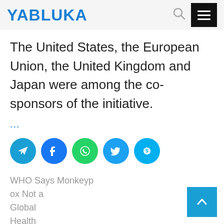YABLUKA
The United States, the European Union, the United Kingdom and Japan were among the co-sponsors of the initiative.
...
[Figure (other): Row of social media share buttons: Telegram, Facebook, WhatsApp, Twitter, Skype]
WHO Says Monkeypox Not a Global Health Emergenc